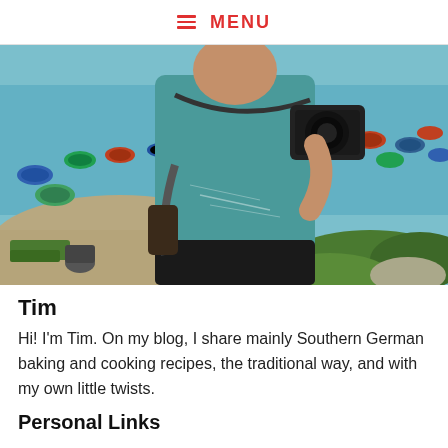≡ MENU
[Figure (photo): A person wearing a teal t-shirt and holding a camera, photographing a bay filled with colorful fishing boats. The scene is taken from an elevated viewpoint overlooking a coastal area with sand, green vegetation, and turquoise water.]
Tim
Hi! I'm Tim. On my blog, I share mainly Southern German baking and cooking recipes, the traditional way, and with my own little twists.
Personal Links